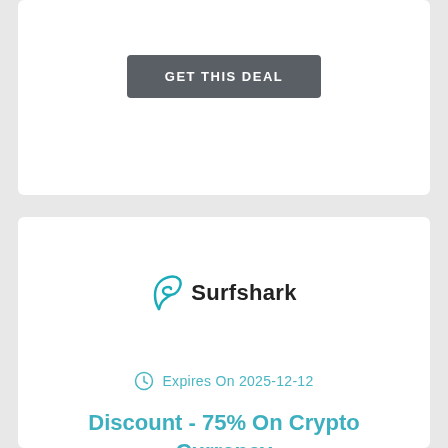[Figure (other): GET THIS DEAL button at top of page (grey rounded rectangle button)]
[Figure (logo): Surfshark logo with teal fin icon and Surfshark text]
Expires On 2025-12-12
Discount - 75% On Crypto Currency
[Figure (other): GET THIS DEAL button at bottom of page (grey rounded rectangle button)]